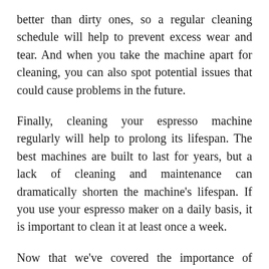better than dirty ones, so a regular cleaning schedule will help to prevent excess wear and tear. And when you take the machine apart for cleaning, you can also spot potential issues that could cause problems in the future.
Finally, cleaning your espresso machine regularly will help to prolong its lifespan. The best machines are built to last for years, but a lack of cleaning and maintenance can dramatically shorten the machine's lifespan. If you use your espresso maker on a daily basis, it is important to clean it at least once a week.
Now that we've covered the importance of cleaning your espresso machine, let's take a look at how to do it. The process is actually quite simple and only requires a few household supplies.